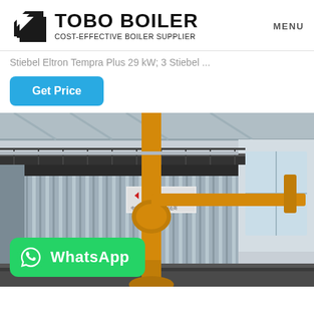TOBO BOILER — COST-EFFECTIVE BOILER SUPPLIER | MENU
Stiebel Eltron Tempra Plus 29 kW; 3 Stiebel ...
Get Price
[Figure (photo): Industrial boiler unit with corrugated metal casing and yellow gas pipes, displayed in a factory setting. A WhatsApp button overlay appears at the bottom left of the image.]